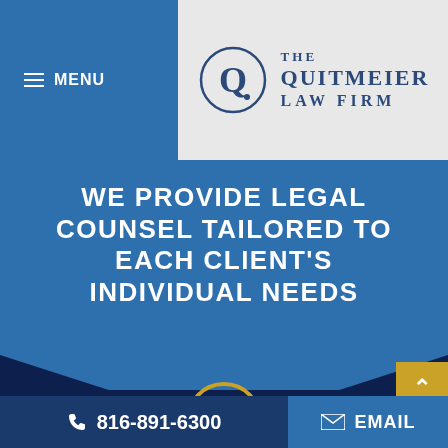MENU
[Figure (logo): The Quitmeier Law Firm logo with circular Q emblem and firm name in serif font]
WE PROVIDE LEGAL COUNSEL TAILORED TO EACH CLIENT'S INDIVIDUAL NEEDS
OFFICE LOCATION
10150 N Ambassador Dr
816-891-6300  EMAIL